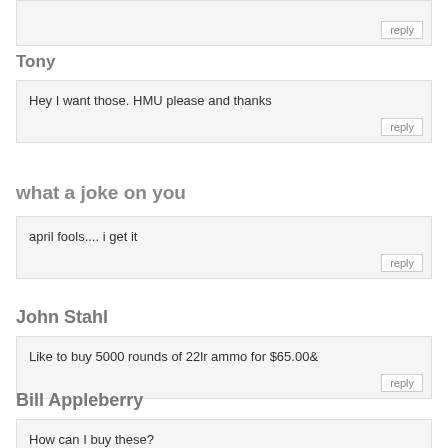(partial comment box at top)
Tony
Hey I want those. HMU please and thanks
what a joke on you
april fools.... i get it
John Stahl
Like to buy 5000 rounds of 22lr ammo for $65.00&
Bill Appleberry
How can I buy these?